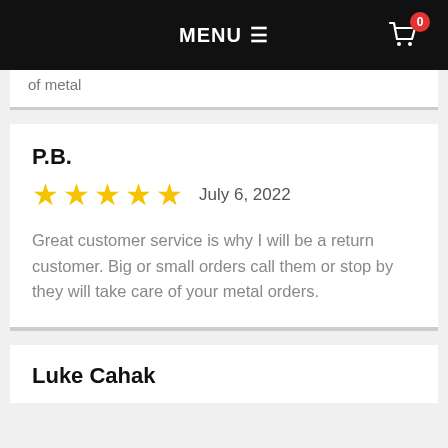MENU ☰
of metal
P.B.
★★★★★  July 6, 2022
Great customer service is why I will be a return customer. Big or small orders call them or stop by they will take care of your metal orders.
Luke Cahak